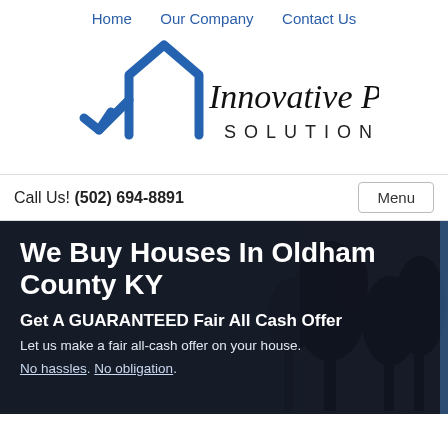Home   Our Company   Contact Us
[Figure (logo): Innovative Property Solutions logo with blue house/arrow icon and cursive + serif text]
Call Us! (502) 694-8891
We Buy Houses In Oldham County KY
Get A GUARANTEED Fair All Cash Offer
Let us make a fair all-cash offer on your house.
No hassles. No obligation.